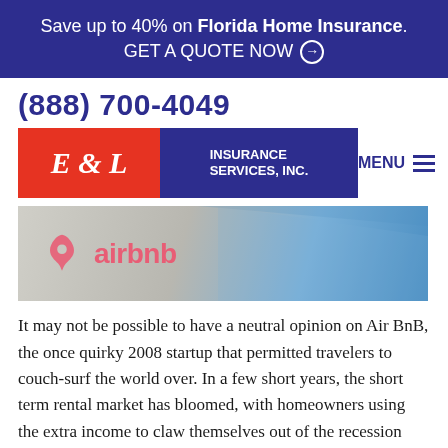Save up to 40% on Florida Home Insurance. GET A QUOTE NOW ⊙
(888) 700-4049
[Figure (logo): E & L Insurance Services, Inc. logo — red box with 'E & L' in white italic serif font, adjacent blue box with 'INSURANCE SERVICES, INC.' in white sans-serif]
[Figure (photo): Hero banner image showing an airbnb-branded building exterior with a blue sky background. The Airbnb logo (coral/salmon colored) and wordmark 'airbnb' are overlaid on the left side.]
It may not be possible to have a neutral opinion on Air BnB, the once quirky 2008 startup that permitted travelers to couch-surf the world over. In a few short years, the short term rental market has bloomed, with homeowners using the extra income to claw themselves out of the recession and apartment dwellers to keep up with rising rents